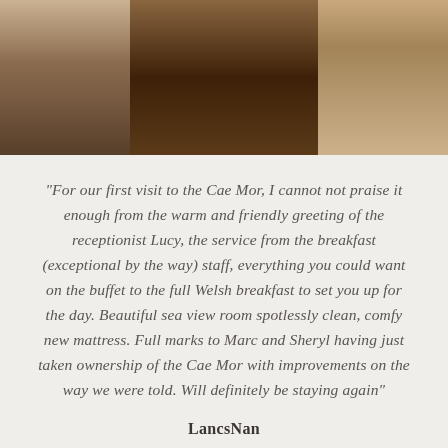[Figure (photo): A decorative header image strip showing three panels of textured stone or wall surfaces in warm brown and tan tones.]
"For our first visit to the Cae Mor, I cannot not praise it enough from the warm and friendly greeting of the receptionist Lucy, the service from the breakfast (exceptional by the way) staff, everything you could want on the buffet to the full Welsh breakfast to set you up for the day. Beautiful sea view room spotlessly clean, comfy new mattress. Full marks to Marc and Sheryl having just taken ownership of the Cae Mor with improvements on the way we were told. Will definitely be staying again"
LancsNan